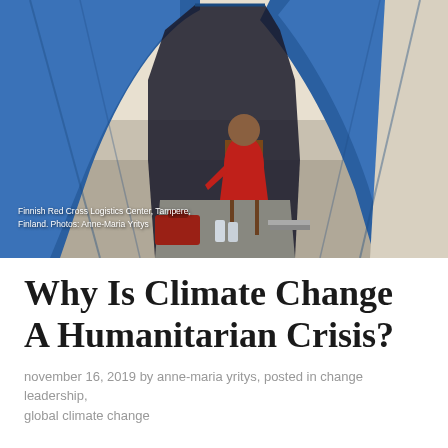[Figure (photo): Interior view of a large blue camping/relief tent at the Finnish Red Cross Logistics Center in Tampere, Finland. The tent is open showing a person wearing red sitting on a chair inside with bags and equipment on the floor. The tent fabric is bright blue.]
Finnish Red Cross Logistics Center, Tampere, Finland. Photos: Anne-Maria Yritys
Why Is Climate Change A Humanitarian Crisis?
november 16, 2019 by anne-maria yritys, posted in change leadership, global climate change